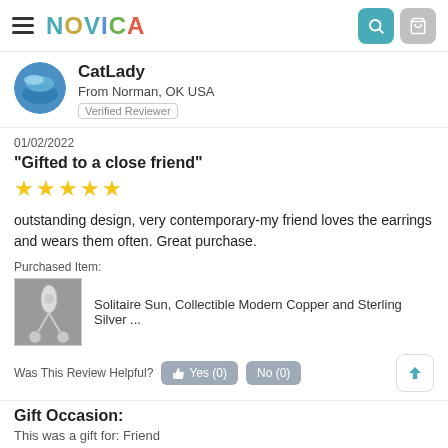NOVICA
CatLady
From Norman, OK USA
Verified Reviewer
01/02/2022
"Gifted to a close friend"
[Figure (other): 5 gold star rating]
outstanding design, very contemporary-my friend loves the earrings and wears them often. Great purchase.
Purchased Item:
[Figure (photo): Product thumbnail of earrings]
Solitaire Sun, Collectible Modern Copper and Sterling Silver ...
Was This Review Helpful?   Yes (0)   No (0)
Gift Occasion:
This was a gift for: Friend